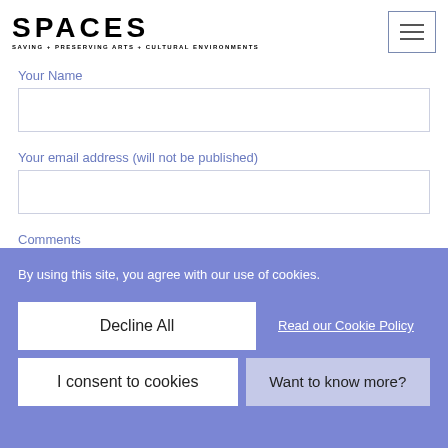SPACES — SAVING + PRESERVING ARTS + CULTURAL ENVIRONMENTS
Your Name
Your email address (will not be published)
Comments
By using this site, you agree with our use of cookies.
Decline All
Read our Cookie Policy
I consent to cookies
Want to know more?